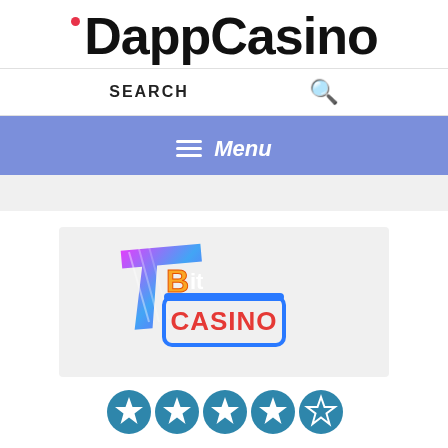iDappCasino
SEARCH
Menu
[Figure (logo): 7Bit Casino logo with stylized '7' in pink/blue gradient and 'Bit CASINO' text in blue and red]
[Figure (infographic): 4 filled star rating circles and 1 empty star circle on teal/blue background, rating 4 out of 5]
Play now